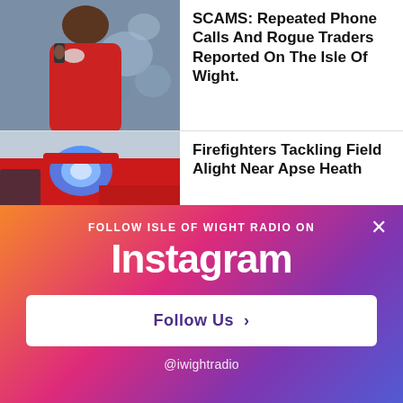[Figure (photo): Person on a phone call, viewed from behind, wearing a face mask, blurred background]
SCAMS: Repeated Phone Calls And Rogue Traders Reported On The Isle Of Wight.
[Figure (photo): Close-up of a fire engine with blue flashing light activated]
Firefighters Tackling Field Alight Near Apse Heath
[Figure (photo): Partially visible third news item thumbnail, light blue]
Fess For Mi...
[Figure (infographic): Instagram follow overlay with gradient background. Text: FOLLOW ISLE OF WIGHT RADIO ON Instagram. Button: Follow Us >. Handle: @iwightradio]